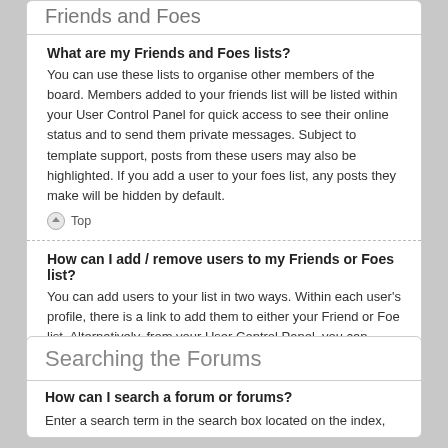Friends and Foes
What are my Friends and Foes lists?
You can use these lists to organise other members of the board. Members added to your friends list will be listed within your User Control Panel for quick access to see their online status and to send them private messages. Subject to template support, posts from these users may also be highlighted. If you add a user to your foes list, any posts they make will be hidden by default.
Top
How can I add / remove users to my Friends or Foes list?
You can add users to your list in two ways. Within each user's profile, there is a link to add them to either your Friend or Foe list. Alternatively, from your User Control Panel, you can directly add users by entering their member name. You may also remove users from your list using the same page.
Top
Searching the Forums
How can I search a forum or forums?
Enter a search term in the search box located on the index,